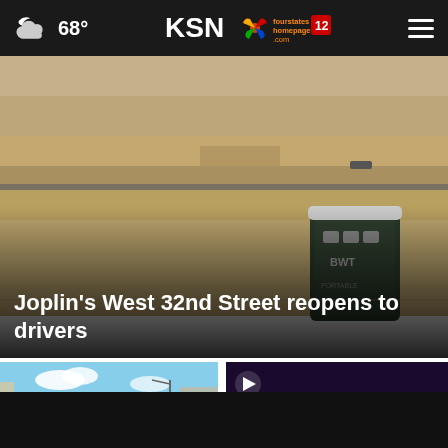68° KSN fourstates homepage .com 12
[Figure (photo): Aerial or elevated view of a street construction scene with sandy/dirt roadbed, a portable toilet (BWT brand), and construction area. Joplin's West 32nd Street reopening scene.]
Joplin's West 32nd Street reopens to drivers
[Figure (photo): Thumbnail image showing a street scene with large letter visible, blue sky background.]
[Figure (screenshot): Video thumbnail with play button, dark purple/blue toned background with close button overlay.]